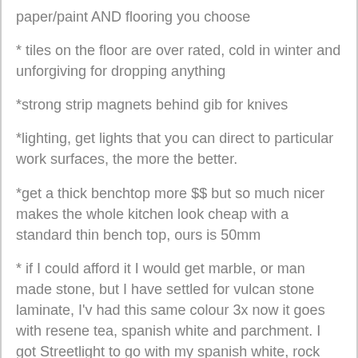paper/paint AND flooring you choose
* tiles on the floor are over rated, cold in winter and unforgiving for dropping anything
*strong strip magnets behind gib for knives
*lighting, get lights that you can direct to particular work surfaces, the more the better.
*get a thick benchtop more $$ but so much nicer makes the whole kitchen look cheap with a standard thin bench top, ours is 50mm
* if I could afford it I would get marble, or man made stone, but I have settled for vulcan stone laminate, I'v had this same colour 3x now it goes with resene tea, spanish white and parchment. I got Streetlight to go with my spanish white, rock